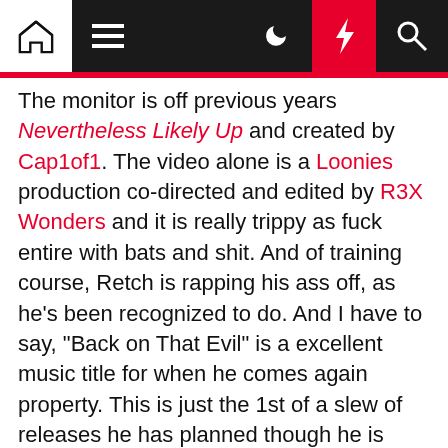Navigation bar with home, menu, dark mode, lightning, and search icons
The monitor is off previous years Nevertheless Likely Up and created by Cap1of1. The video alone is a Loonies production co-directed and edited by R3X Wonders and it is really trippy as fuck entire with bats and shit. And of training course, Retch is rapping his ass off, as he's been recognized to do. And I have to say, "Back on That Evil" is a excellent music title for when he comes again property. This is just the 1st of a slew of releases he has planned though he is inside knocking out this probation he's been on given that 2015.
Retch is familiar with he has to set what seems to be regular authorized problems guiding him and he's adamant about receiving back to perform when he's back again residence, which ought to be quickly. More than the phone, he sounded in excellent spirits and was positive about anything. I was taken aback